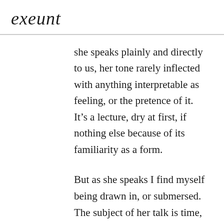exeunt
she speaks plainly and directly to us, her tone rarely inflected with anything interpretable as feeling, or the pretence of it. It’s a lecture, dry at first, if nothing else because of its familiarity as a form.
But as she speaks I find myself being drawn in, or submersed. The subject of her talk is time, essentially, and its problems. How we measure time, and how measurement might destabilise our sense of it much as it defines it. She talks about her partnership (professional and personal) with Small, and how their young children appear in